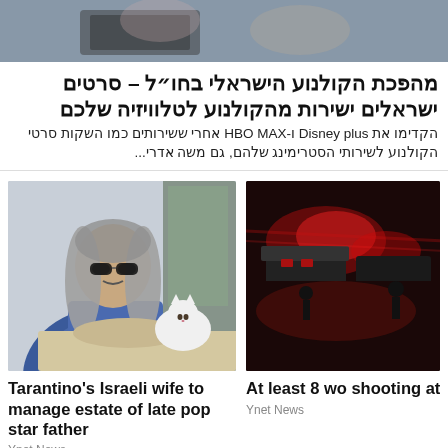[Figure (photo): Top banner photo showing hands holding a device, cropped]
מהפכת הקולנוע הישראלי בחו״ל – סרטים ישראלים ישירות מהקולנוע לטלוויזיה שלכם
הקדימו את Disney plus ו-HBO MAX אחרי ששירותים כמו השקות סרטי הקולנוע לשירותי הסטרימינג שלהם, גם משה אדרי...
[Figure (photo): Man with long gray hair and sunglasses in blue flannel shirt, sitting at table with white cat and food]
[Figure (photo): Night scene with emergency vehicles and red lights, police shooting attack scene]
Tarantino's Israeli wife to manage estate of late pop star father
At least 8 wo shooting atta
Ynet News
Ynet News